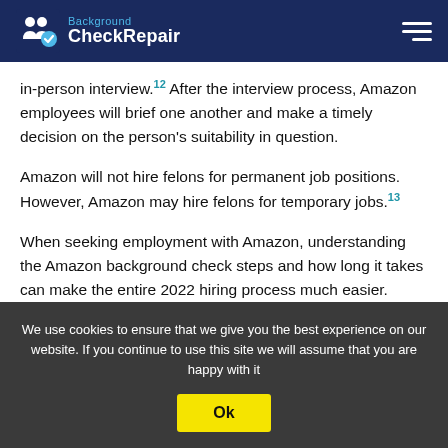Background CheckRepair
in-person interview.12 After the interview process, Amazon employees will brief one another and make a timely decision on the person's suitability in question.
Amazon will not hire felons for permanent job positions. However, Amazon may hire felons for temporary jobs.13
When seeking employment with Amazon, understanding the Amazon background check steps and how long it takes can make the entire 2022 hiring process much easier.
Frequently Asked
We use cookies to ensure that we give you the best experience on our website. If you continue to use this site we will assume that you are happy with it